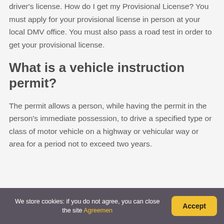driver's license. How do I get my Provisional License? You must apply for your provisional license in person at your local DMV office. You must also pass a road test in order to get your provisional license.
What is a vehicle instruction permit?
The permit allows a person, while having the permit in the person's immediate possession, to drive a specified type or class of motor vehicle on a highway or vehicular way or area for a period not to exceed two years.
We store cookies: if you do not agree, you can close the site Agreemen  Accept